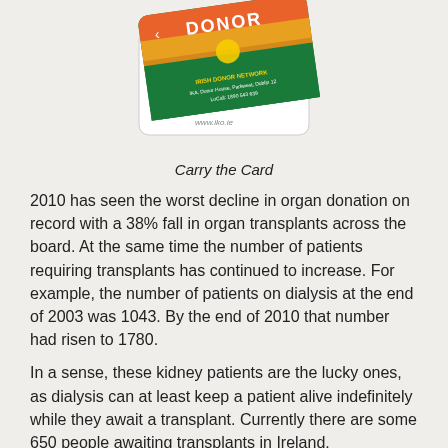[Figure (photo): Irish organ donor card — a green card with a sunrise/sunset sky image, text reading 'DONOR', 'IRISH DONOR NETWORK', 'IKA, Donor House, Parkwest, Dublin 12', 'LoCall: 1890 543 639', and 'www.iko.ie', shown at an angle on top of a white card backing.]
Carry the Card
2010 has seen the worst decline in organ donation on record with a 38% fall in organ transplants across the board. At the same time the number of patients requiring transplants has continued to increase. For example, the number of patients on dialysis at the end of 2003 was 1043. By the end of 2010 that number had risen to 1780.
In a sense, these kidney patients are the lucky ones, as dialysis can at least keep a patient alive indefinitely while they await a transplant. Currently there are some 650 people awaiting transplants in Ireland.